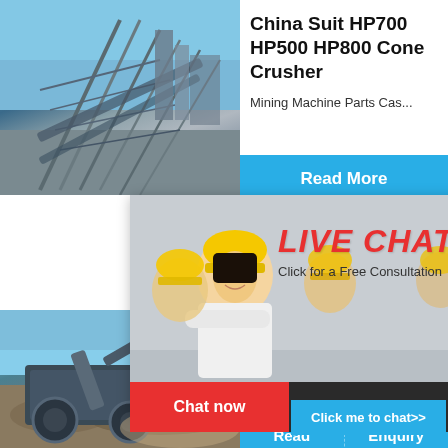[Figure (photo): Industrial mining conveyor belt and steel structure against blue sky]
China Suit HP700 HP500 HP800 Cone Crusher
Mining Machine Parts Cas...
Read More
[Figure (photo): Three workers in yellow hard hats, woman smiling in foreground with LIVE CHAT overlay]
LIVE CHAT
Click for a Free Consultation
hour online
[Figure (photo): Mining machine/crusher equipment on outdoor site]
Wear P... Products
CSP Con...
[Figure (photo): Cone crusher machine product image]
Chat now
Chat later
Click me to chat>>
Read
Enquiry
limingjlmofen